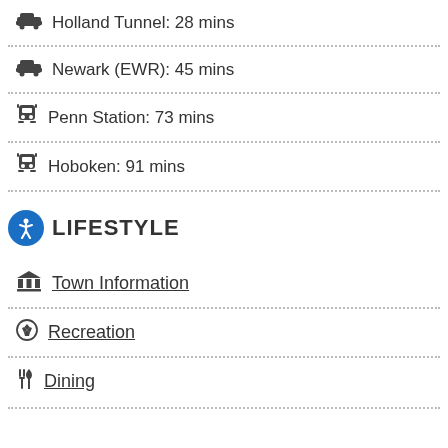Holland Tunnel: 28 mins
Newark (EWR): 45 mins
Penn Station: 73 mins
Hoboken: 91 mins
LIFESTYLE
Town Information
Recreation
Dining